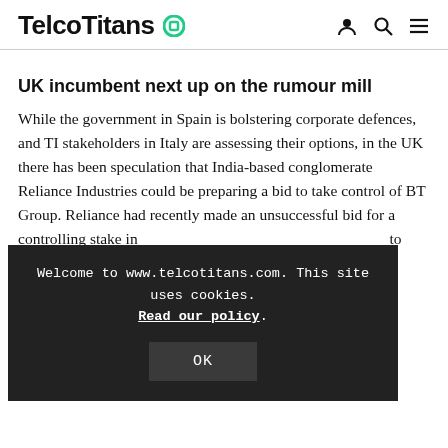TelcoTitans
UK incumbent next up on the rumour mill
While the government in Spain is bolstering corporate defences, and TI stakeholders in Italy are assessing their options, in the UK there has been speculation that India-based conglomerate Reliance Industries could be preparing a bid to take control of BT Group. Reliance had recently made an unsuccessful bid for a controlling stake in [obscured by overlay] to th[obscured] se[obscured]
H[obscured] was categorically shutdown by Reliance on Monday. The official denial rules out Reliance making a formal bid for
[Figure (screenshot): Cookie consent overlay on telcotitans.com website reading: Welcome to www.telcotitans.com. This site uses cookies. Read our policy. OK button.]